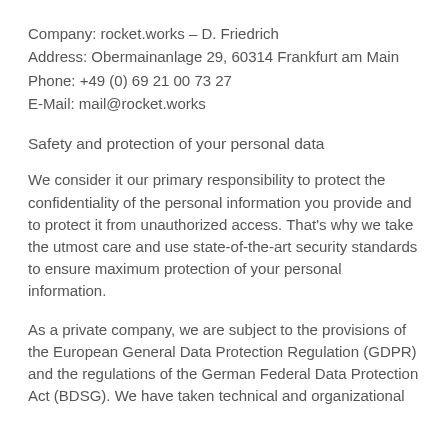Company: rocket.works – D. Friedrich
Address: Obermainanlage 29, 60314 Frankfurt am Main
Phone: +49 (0) 69 21 00 73 27
E-Mail: mail@rocket.works
Safety and protection of your personal data
We consider it our primary responsibility to protect the confidentiality of the personal information you provide and to protect it from unauthorized access. That's why we take the utmost care and use state-of-the-art security standards to ensure maximum protection of your personal information.
As a private company, we are subject to the provisions of the European General Data Protection Regulation (GDPR) and the regulations of the German Federal Data Protection Act (BDSG). We have taken technical and organizational